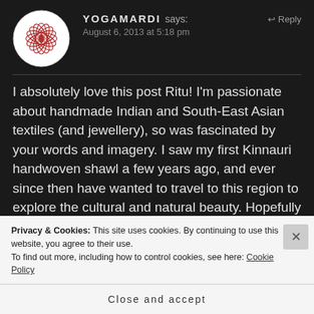[Figure (illustration): Circular avatar with decorative red floral/mandala pattern on white background]
YOGAMARDI says:
↩ Reply
August 6, 2013 at 5:18 pm
I absolutely love this post Ritu! I'm passionate about handmade Indian and South-East Asian textiles (and jewellery), so was fascinated by your words and imagery. I saw my first Kinnauri handwoven shawl a few years ago, and ever since then have wanted to travel to this region to explore the cultural and natural beauty. Hopefully soon! Thanks for sharing your
Privacy & Cookies: This site uses cookies. By continuing to use this website, you agree to their use.
To find out more, including how to control cookies, see here: Cookie Policy
Close and accept